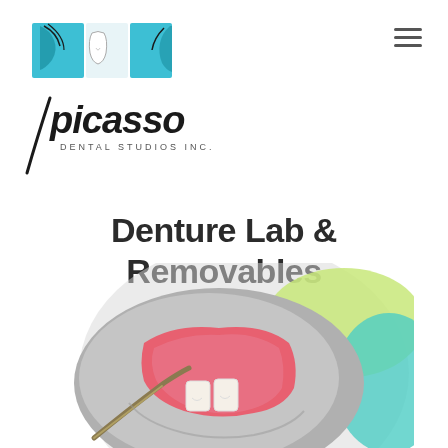[Figure (logo): Picasso Dental Studios Inc. logo featuring artistic face/tooth illustration in teal/blue colors with stylized text]
Denture Lab & Removables
[Figure (photo): Close-up photo of dental model showing pink denture/removable prosthetic with teeth on a dental cast, with colorful background elements in green and teal]